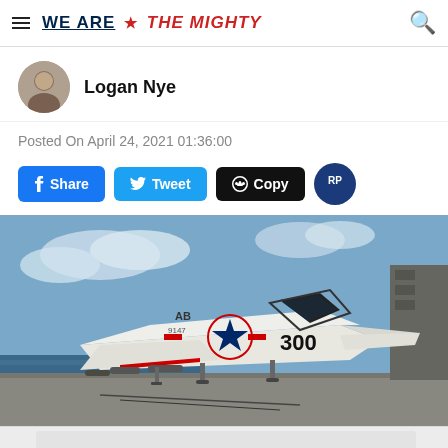WE ARE ★ THE MIGHTY
Logan Nye
Posted On April 24, 2021 01:36:00
Share  Tweet  Copy  RP
[Figure (photo): A U.S. Navy A-4 Skyhawk jet aircraft numbered 300 with US star insignia on the fuselage, parked on an aircraft carrier deck. The aircraft is white with red trim, cockpit open, armed with weapons under the wings. Ocean and sky visible in background.]